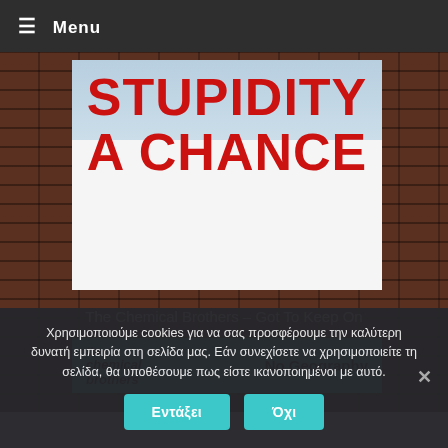≡ Menu
[Figure (illustration): A white billboard/sign against a light blue sky background showing text 'STUPIDITY A CHANCE' in large bold red letters, mounted against a brick wall background.]
The Chemical Brothers – Got To Keep On
[Figure (illustration): The Chemical Brothers 'No Geography' album banner in cyan/turquoise color with logo on left and 'No Geography' text on right.]
Χρησιμοποιούμε cookies για να σας προσφέρουμε την καλύτερη δυνατή εμπειρία στη σελίδα μας. Εάν συνεχίσετε να χρησιμοποιείτε τη σελίδα, θα υποθέσουμε πως είστε ικανοποιημένοι με αυτό.
Εντάξει
Όχι